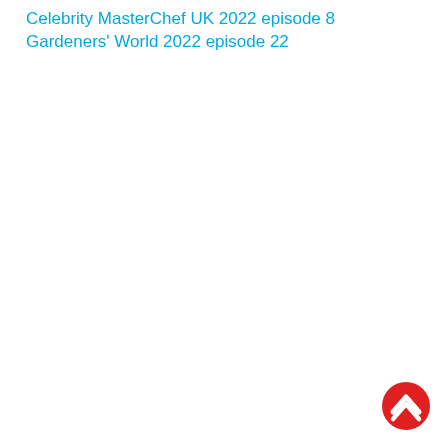Celebrity MasterChef UK 2022 episode 8
Gardeners' World 2022 episode 22
[Figure (logo): Red circular badge with a white chevron/caret (up arrow) symbol inside]